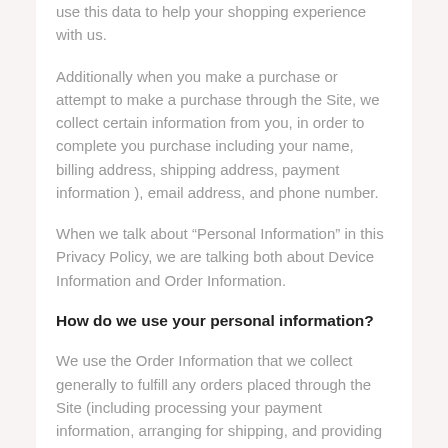use this data to help your shopping experience with us.
Additionally when you make a purchase or attempt to make a purchase through the Site, we collect certain information from you, in order to complete you purchase including your name, billing address, shipping address, payment information ), email address, and phone number.
When we talk about “Personal Information” in this Privacy Policy, we are talking both about Device Information and Order Information.
How do we use your personal information?
We use the Order Information that we collect generally to fulfill any orders placed through the Site (including processing your payment information, arranging for shipping, and providing you with invoices and/or order